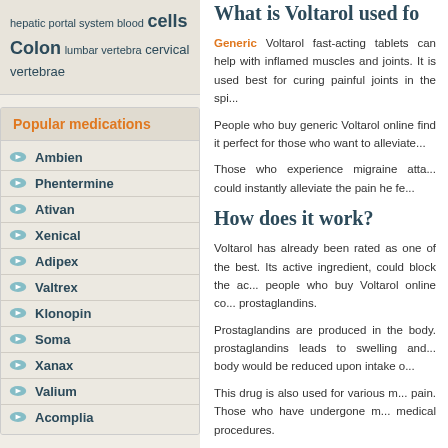hepatic portal system blood cells Colon lumbar vertebra cervical vertebrae
Popular medications
Ambien
Phentermine
Ativan
Xenical
Adipex
Valtrex
Klonopin
Soma
Xanax
Valium
Acomplia
What is Voltarol used for
Generic Voltarol fast-acting tablets can help with inflamed muscles and joints. It is best for curing painful joints in the spine.
People who buy generic Voltarol online find it perfect for those who want to alleviate pain.
Those who experience migraine attacks could instantly alleviate the pain he feels.
How does it work?
Voltarol has already been rated as one of the best. Its active ingredient, could block the action of people who buy Voltarol online could reduce prostaglandins.
Prostaglandins are produced in the body. prostaglandins leads to swelling and pain. body would be reduced upon intake of
This drug is also used for various medical pain. Those who have undergone medical procedures.
When should it be used